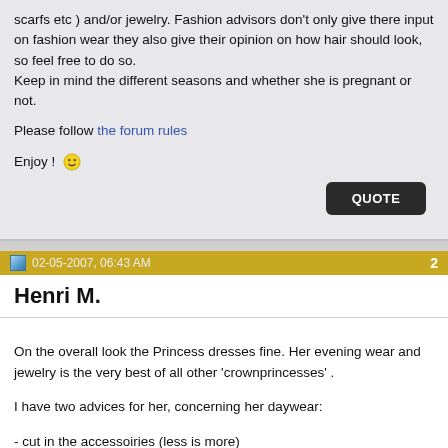scarfs etc ) and/or jewelry. Fashion advisors don't only give there input on fashion wear they also give their opinion on how hair should look, so feel free to do so.
Keep in mind the different seasons and whether she is pregnant or not.
Please follow the forum rules
Enjoy ! 🙂
QUOTE
02-05-2007, 06:43 AM  2
Henri M.
On the overall look the Princess dresses fine. Her evening wear and jewelry is the very best of all other 'crownprincesses' .

I have two advices for her, concerning her daywear:

- cut in the accessoiries (less is more)
- always wear a hat ór wear the hair up in a chignon